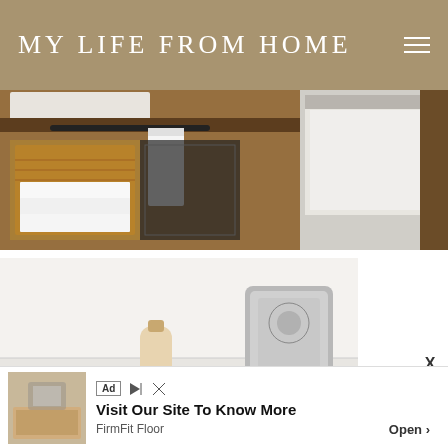MY LIFE FROM HOME
[Figure (photo): Rustic wooden bathroom vanity with towel bar, white folded towels in a basket, and a white hand towel hanging. Split image showing two angles of the vanity.]
[Figure (photo): Bathroom countertop with a small brush/bottle and a decorative framed mirror with ornate design.]
[Figure (photo): Advertisement banner: Visit Our Site To Know More - FirmFit Floor with Open button]